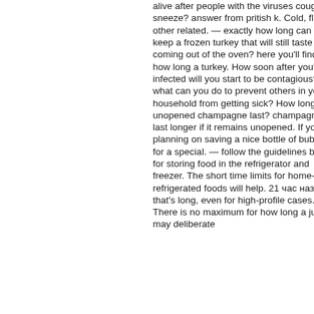alive after people with the viruses cough or sneeze? answer from pritish k. Cold, flu and other related. — exactly how long can you keep a frozen turkey that will still taste good coming out of the oven? here you'll find out how long a turkey. How soon after you're infected will you start to be contagious? and what can you do to prevent others in your household from getting sick? How long does unopened champagne last? champagne will last longer if it remains unopened. If you're planning on saving a nice bottle of bubbly for a special. — follow the guidelines below for storing food in the refrigerator and freezer. The short time limits for home-refrigerated foods will help. 21 час назад — that's long, even for high-profile cases. There is no maximum for how long a jury may deliberate